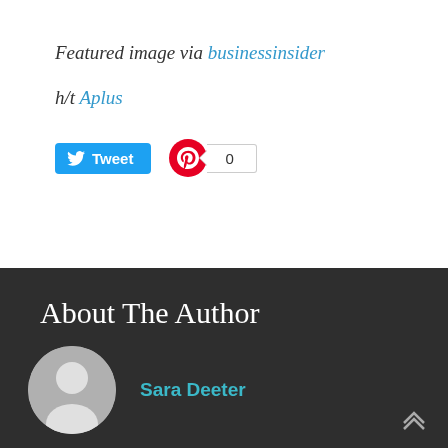Featured image via businessinsider
h/t Aplus
[Figure (other): Social sharing buttons: Twitter Tweet button and Pinterest button with count 0]
About The Author
[Figure (illustration): Generic user avatar placeholder (gray circle with white silhouette)]
Sara Deeter